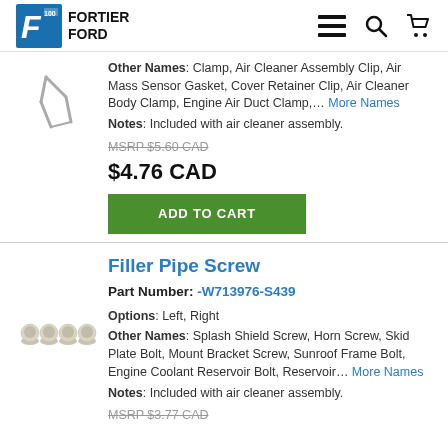Fortier Ford
Other Names: Clamp, Air Cleaner Assembly Clip, Air Mass Sensor Gasket, Cover Retainer Clip, Air Cleaner Body Clamp, Engine Air Duct Clamp,... More Names
Notes: Included with air cleaner assembly.
MSRP $5.60 CAD
$4.76 CAD
[Figure (photo): Metal clip/clamp part photo]
ADD TO CART
Filler Pipe Screw
Part Number: -W713976-S439
[Figure (photo): Four filler pipe screws photo]
Options: Left, Right
Other Names: Splash Shield Screw, Horn Screw, Skid Plate Bolt, Mount Bracket Screw, Sunroof Frame Bolt, Engine Coolant Reservoir Bolt, Reservoir... More Names
Notes: Included with air cleaner assembly.
MSRP $3.77 CAD